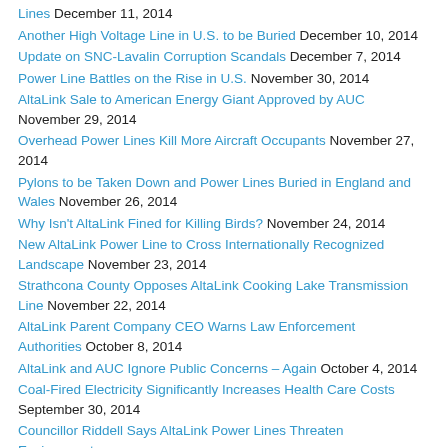Lines December 11, 2014
Another High Voltage Line in U.S. to be Buried December 10, 2014
Update on SNC-Lavalin Corruption Scandals December 7, 2014
Power Line Battles on the Rise in U.S. November 30, 2014
AltaLink Sale to American Energy Giant Approved by AUC November 29, 2014
Overhead Power Lines Kill More Aircraft Occupants November 27, 2014
Pylons to be Taken Down and Power Lines Buried in England and Wales November 26, 2014
Why Isn't AltaLink Fined for Killing Birds? November 24, 2014
New AltaLink Power Line to Cross Internationally Recognized Landscape November 23, 2014
Strathcona County Opposes AltaLink Cooking Lake Transmission Line November 22, 2014
AltaLink Parent Company CEO Warns Law Enforcement Authorities October 8, 2014
AltaLink and AUC Ignore Public Concerns – Again October 4, 2014
Coal-Fired Electricity Significantly Increases Health Care Costs September 30, 2014
Councillor Riddell Says AltaLink Power Lines Threaten Environment